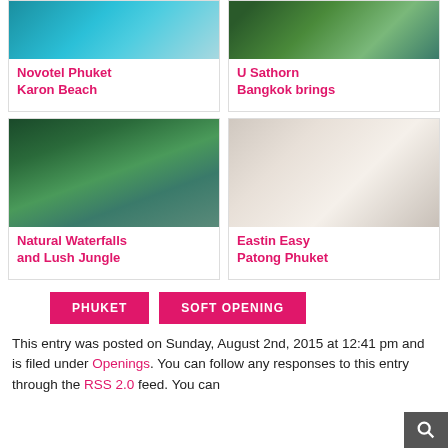[Figure (photo): Aerial view of Novotel Phuket Karon Beach pool area]
Novotel Phuket Karon Beach
[Figure (photo): U Sathorn Bangkok hotel exterior with green lawn]
U Sathorn Bangkok brings
[Figure (photo): Natural pool with jungle and palm trees]
Natural Waterfalls and Lush Jungle
[Figure (photo): Eastin Easy Patong Phuket hotel room with double bed]
Eastin Easy Patong Phuket
PHUKET
SOFT OPENING
This entry was posted on Sunday, August 2nd, 2015 at 12:41 pm and is filed under Openings. You can follow any responses to this entry through the RSS 2.0 feed. You can